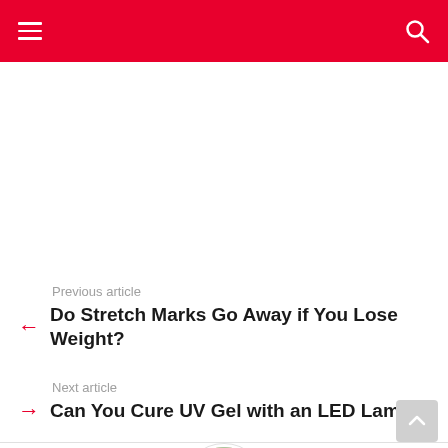Navigation header with hamburger menu and search icon
Previous article
Do Stretch Marks Go Away if You Lose Weight?
Next article
Can You Cure UV Gel with an LED Lamp?
[Figure (photo): Circular author avatar photo of Kayla Young]
Written by Kayla Young